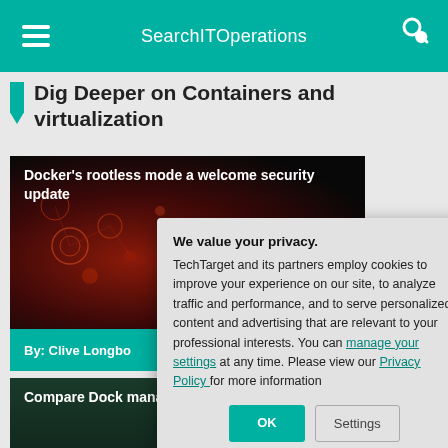SearchITOperations
Dig Deeper on Containers and virtualization
[Figure (screenshot): Article card with dark background showing Docker security article thumbnail]
Docker's rootless mode a welcome security update
By: Clive Longbo
[Figure (screenshot): Article card with dark green/teal background for Docker management article]
Compare Dock management
By: Paul Ferrill
[Figure (screenshot): Partial article card at bottom - Docker run]
[Figure (screenshot): Cookie consent dialog overlay]
We value your privacy. TechTarget and its partners employ cookies to improve your experience on our site, to analyze traffic and performance, and to serve personalized content and advertising that are relevant to your professional interests. You can manage your settings at any time. Please view our Privacy Policy for more information